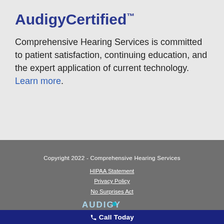AudigyCertified™
Comprehensive Hearing Services is committed to patient satisfaction, continuing education, and the expert application of current technology. Learn more.
Copyright 2022 - Comprehensive Hearing Services
HIPAA Statement
Privacy Policy
No Surprises Act
[Figure (logo): Audigy logo in teal/white text]
Call Today